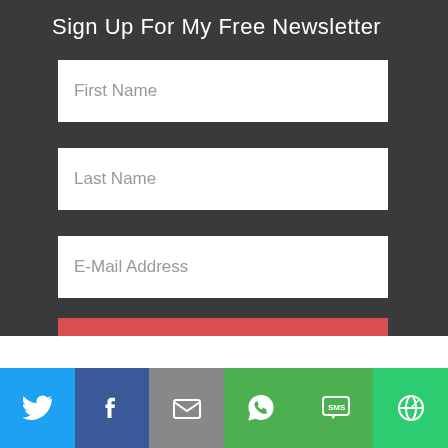Sign Up For My Free Newsletter
First Name
Last Name
E-Mail Address
SIGN ME UP!
[Figure (infographic): Social media sharing buttons row: Twitter (blue), Facebook (dark blue), Email (grey), WhatsApp (green), SMS (green), Other (bright green), each with white icon]